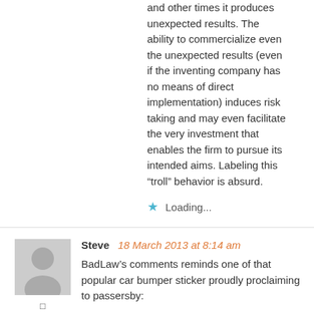and other times it produces unexpected results. The ability to commercialize even the unexpected results (even if the inventing company has no means of direct implementation) induces risk taking and may even facilitate the very investment that enables the firm to pursue its intended aims. Labeling this “troll” behavior is absurd.
Loading...
Steve 18 March 2013 at 8:14 am
BadLaw’s comments reminds one of that popular car bumper sticker proudly proclaiming to passersby:
“I don’t know where I’m going, but I’m making great time.”
Movement … change … action … for their own sake is of course illogical. Any laws attempting to do such must be carefully examined, vetted, discussed, and considered. Who will they help? Who will they hurt? Who’s supporting them; and why?
Far from being merely “imperfect,” this act is in fact unconstitutional.